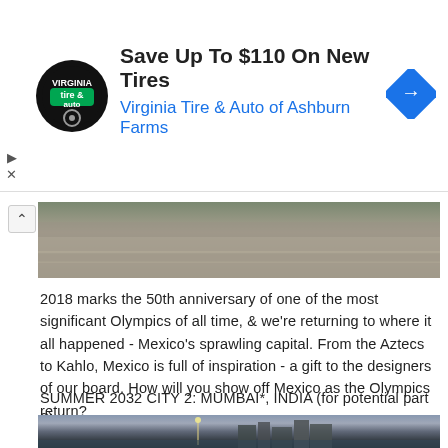[Figure (other): Advertisement banner: Virginia Tire & Auto of Ashburn Farms logo (circular black logo with tire and auto text), headline 'Save Up To $110 On New Tires', subheadline 'Virginia Tire & Auto of Ashburn Farms' in blue, navigation arrow icon in blue diamond shape]
[Figure (photo): Aerial photograph of what appears to be a large plaza or public square, viewed from above showing roads, pedestrians, and urban layout]
2018 marks the 50th anniversary of one of the most significant Olympics of all time, & we're returning to where it all happened - Mexico's sprawling capital. From the Aztecs to Kahlo, Mexico is full of inspiration - a gift to the designers of our board. How will you show off Mexico as the Olympics return?
SUMMER 2032 CITY 2: MUMBAI*, INDIA (for potential part 2)
[Figure (photo): Panoramic photograph of Mumbai cityline at dusk/evening showing Marine Drive, tall buildings in the background, street lamps, crowds along the waterfront, and the Arabian Sea]